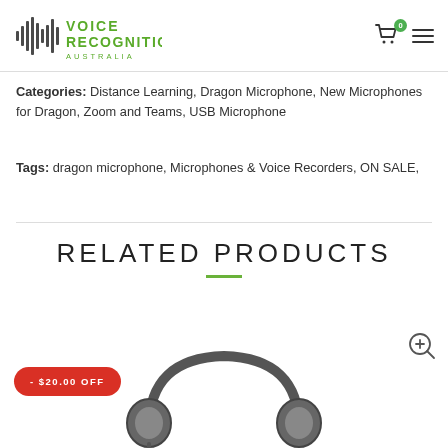[Figure (logo): Voice Recognition Australia logo with waveform icon and green text]
Categories: Distance Learning, Dragon Microphone, New Microphones for Dragon, Zoom and Teams, USB Microphone
Tags: dragon microphone, Microphones & Voice Recorders, ON SALE,
RELATED PRODUCTS
[Figure (photo): Headset/headphone product image with -$20.00 OFF badge and zoom icon]